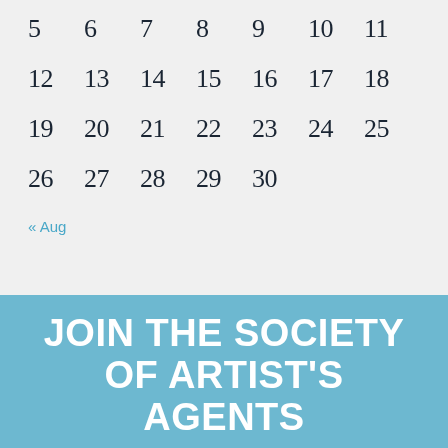| 5 | 6 | 7 | 8 | 9 | 10 | 11 |
| 12 | 13 | 14 | 15 | 16 | 17 | 18 |
| 19 | 20 | 21 | 22 | 23 | 24 | 25 |
| 26 | 27 | 28 | 29 | 30 |  |  |
« Aug
JOIN THE SOCIETY OF ARTIST'S AGENTS
BUT BEFORE YOU DO, PLEASE READ OUR CRITERIA FOR JOINING HERE